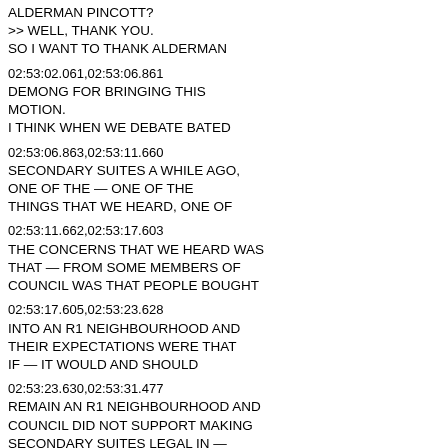ALDERMAN PINCOTT?
>> WELL, THANK YOU.
SO I WANT TO THANK ALDERMAN
02:53:02.061,02:53:06.861
DEMONG FOR BRINGING THIS MOTION.
I THINK WHEN WE DEBATE BATED
02:53:06.863,02:53:11.660
SECONDARY SUITES A WHILE AGO, ONE OF THE — ONE OF THE THINGS THAT WE HEARD, ONE OF
02:53:11.662,02:53:17.603
THE CONCERNS THAT WE HEARD WAS THAT — FROM SOME MEMBERS OF COUNCIL WAS THAT PEOPLE BOUGHT
02:53:17.605,02:53:23.628
INTO AN R1 NEIGHBOURHOOD AND THEIR EXPECTATIONS WERE THAT IF — IT WOULD AND SHOULD
02:53:23.630,02:53:31.477
REMAIN AN R1 NEIGHBOURHOOD AND COUNCIL DID NOT SUPPORT MAKING SECONDARY SUITES LEGAL IN —